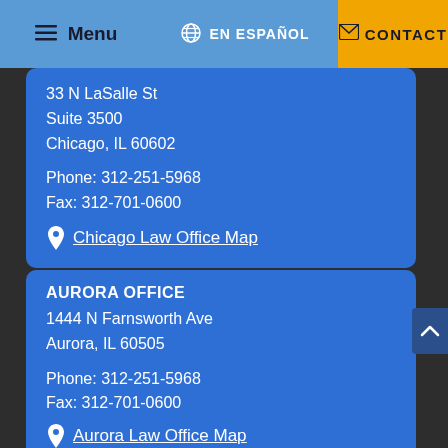Menu | EN ESPAÑOL | CONTACT
33 N LaSalle St
Suite 3500
Chicago, IL 60602
Phone: 312-251-5968
Fax: 312-701-0600
Chicago Law Office Map
AURORA OFFICE
1444 N Farnsworth Ave
Aurora, IL 60505
Phone: 312-251-5968
Fax: 312-701-0600
Aurora Law Office Map